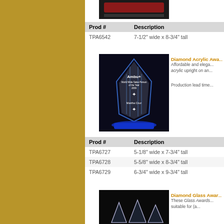[Figure (photo): Top portion of an award trophy on dark background]
| Prod # | Description |
| --- | --- |
| TPA6542 | 7-1/2" wide x 8-3/4" tall |
[Figure (photo): Diamond Acrylic Award - clear acrylic with blue base, flame/diamond shape, engraved with Ambu+ World Wide Sales Person of the Year, Martha Cruz]
Diamond Acrylic Awa...
Affordable and elega... acrylic upright on an...
Production lead time...
| Prod # | Description |
| --- | --- |
| TPA6727 | 5-1/8" wide x 7-3/4" tall |
| TPA6728 | 5-5/8" wide x 8-3/4" tall |
| TPA6729 | 6-3/4" wide x 9-3/4" tall |
[Figure (photo): Diamond Glass Awards - dark background with angular glass award pieces]
Diamond Glass Awar...
These Glass Awards... suitable for (a...